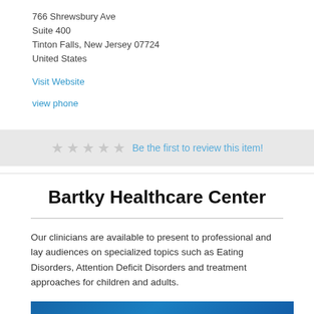766 Shrewsbury Ave
Suite 400
Tinton Falls, New Jersey 07724
United States
Visit Website
view phone
★★★★★  Be the first to review this item!
Bartky Healthcare Center
Our clinicians are available to present to professional and lay audiences on specialized topics such as Eating Disorders, Attention Deficit Disorders and treatment approaches for children and adults.
[Figure (logo): Bartky Healthcare Center logo on blue background with stylized letter B and text]